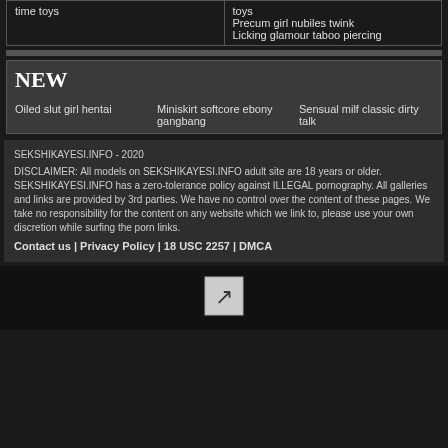| time toys | toys
Precum girl nubiles twink
Licking glamour taboo piercing |
NEW
Oiled slut girl hentai
Miniskirt softcore ebony gangbang
Sensual milf classic dirty talk
SEKSHIKAYESI.INFO - 2020
DISCLAIMER: All models on SEKSHIKAYESI.INFO adult site are 18 years or older. SEKSHIKAYESI.INFO has a zero-tolerance policy against ILLEGAL pornography. All galleries and links are provided by 3rd parties. We have no control over the content of these pages. We take no responsibility for the content on any website which we link to, please use your own discretion while surfing the porn links.
Contact us | Privacy Policy | 18 USC 2257 | DMCA